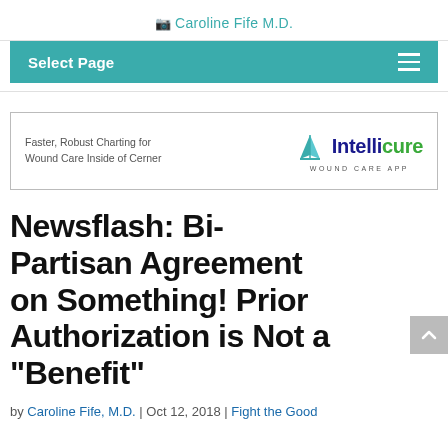Caroline Fife M.D.
Select Page
[Figure (other): Intellicure Wound Care App advertisement banner. Text: Faster, Robust Charting for Wound Care Inside of Cerner. Logo: sailboat icon with Intellicure (Intel in blue, cure in green) WOUND CARE APP]
Newsflash: Bi-Partisan Agreement on Something! Prior Authorization is Not a "Benefit"
by Caroline Fife, M.D. | Oct 12, 2018 | Fight the Good